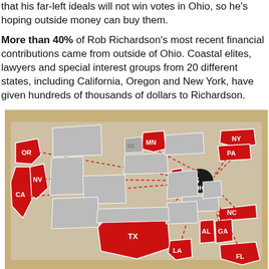that his far-left ideals will not win votes in Ohio, so he's hoping outside money can buy them.

More than 40% of Rob Richardson's most recent financial contributions came from outside of Ohio. Coastal elites, lawyers and special interest groups from 20 different states, including California, Oregon and New York, have given hundreds of thousands of dollars to Richardson.
[Figure (map): Map of the United States showing states highlighted in red (OR, NV, CA, MN, IL, TX, LA, NY, PA, NC, AL, GA, FL, and others) with dashed red lines connecting them to Ohio, indicating states from which Rob Richardson received political contributions.]